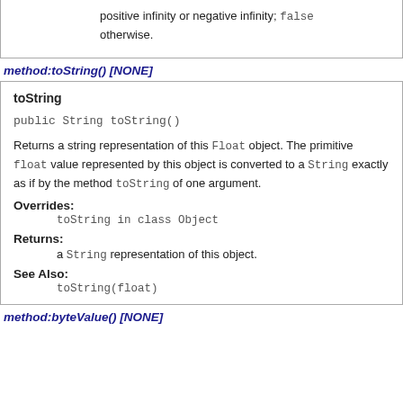positive infinity or negative infinity; false otherwise.
method:toString() [NONE]
toString
public String toString()
Returns a string representation of this Float object. The primitive float value represented by this object is converted to a String exactly as if by the method toString of one argument.
Overrides:
toString in class Object
Returns:
a String representation of this object.
See Also:
toString(float)
method:byteValue() [NONE]